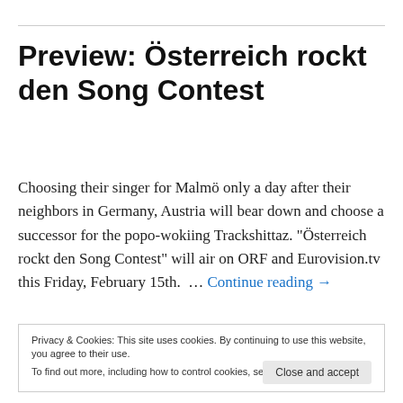Preview: Österreich rockt den Song Contest
Choosing their singer for Malmö only a day after their neighbors in Germany, Austria will bear down and choose a successor for the popo-wokiing Trackshittaz. "Österreich rockt den Song Contest" will air on ORF and Eurovision.tv this Friday, February 15th.  … Continue reading →
Privacy & Cookies: This site uses cookies. By continuing to use this website, you agree to their use.
To find out more, including how to control cookies, see here: Cookie Policy
Trackshittaz!